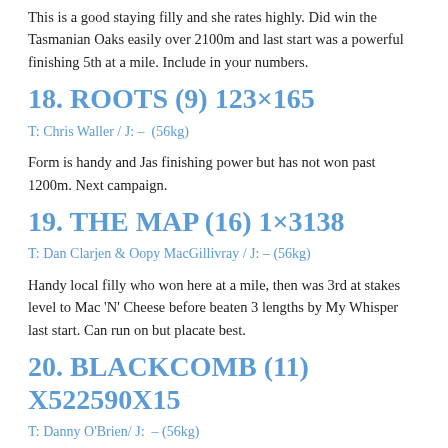This is a good staying filly and she rates highly. Did win the Tasmanian Oaks easily over 2100m and last start was a powerful finishing 5th at a mile. Include in your numbers.
18. ROOTS (9) 123×165
T: Chris Waller / J: – (56kg)
Form is handy and Jas finishing power but has not won past 1200m. Next campaign.
19. THE MAP (16) 1×3138
T: Dan Clarjen & Oopy MacGillivray / J: – (56kg)
Handy local filly who won here at a mile, then was 3rd at stakes level to Mac 'N' Cheese before beaten 3 lengths by My Whisper last start. Can run on but placate best.
20. BLACKCOMB (11) X522590X15
T: Danny O'Brien/ J: – (56kg)